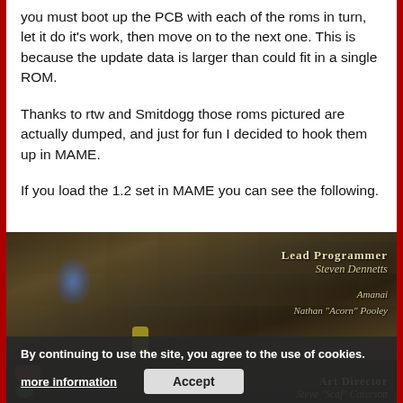you must boot up the PCB with each of the roms in turn, let it do it's work, then move on to the next one. This is because the update data is larger than could fit in a single ROM.
Thanks to rtw and Smitdogg those roms pictured are actually dumped, and just for fun I decided to hook them up in MAME.
If you load the 1.2 set in MAME you can see the following.
[Figure (screenshot): Screenshot of a video game (likely Mortal Kombat or similar fighter) showing a stone wall background with game credits overlaid: 'Lead Programmer Steven Dennetts', 'Amanai', 'Nathan "Acorn" Pooley'. A cookie consent banner is overlaid at the bottom reading 'By continuing to use the site, you agree to the use of cookies.' with 'more information' and 'Accept' buttons.]